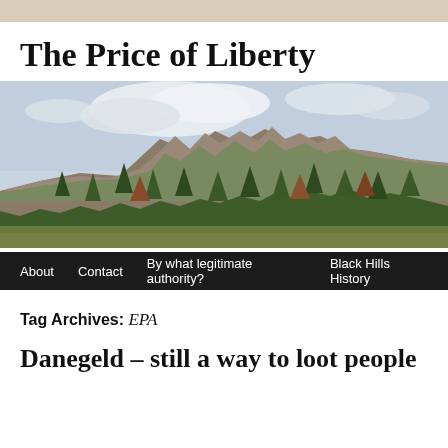The Price of Liberty
[Figure (photo): Landscape photo of a rocky hill covered with pine trees and autumn-colored foliage under a partly cloudy sky, with a navigation bar below reading: About | Contact | By what legitimate authority? | Black Hills History]
Tag Archives: EPA
Danegeld – still a way to loot people